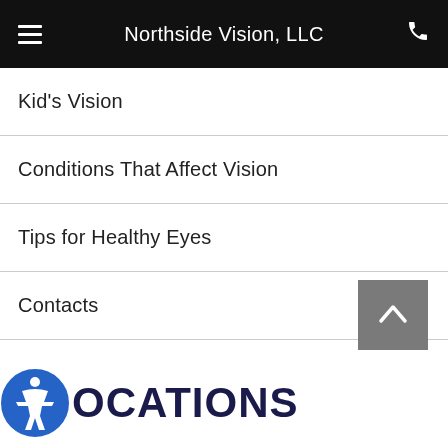Northside Vision, LLC
Kid's Vision
Conditions That Affect Vision
Tips for Healthy Eyes
Contacts
Glasses & Frames
[Figure (other): Scroll to top button with upward chevron arrow on gray background]
LOCATIONS